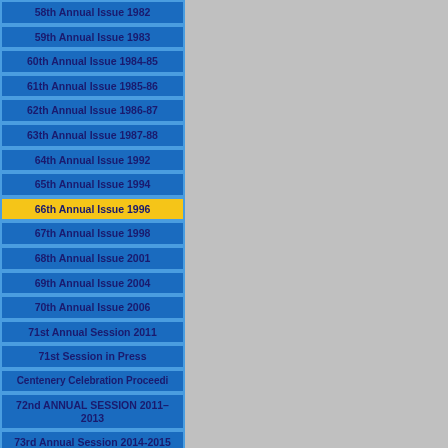58th Annual Issue 1982
59th Annual Issue 1983
60th Annual Issue 1984-85
61th Annual Issue 1985-86
62th Annual Issue 1986-87
63th Annual Issue 1987-88
64th Annual Issue 1992
65th Annual Issue 1994
66th Annual Issue 1996
67th Annual Issue 1998
68th Annual Issue 2001
69th Annual Issue 2004
70th Annual Issue 2006
71st Annual Session 2011
71st Session in Press
Centenery Celebration Proceedi
72nd ANNUAL SESSION 2011–2013
73rd Annual Session 2014-2015
74th Annual Session 2016-2017
75th Annual Session 2018-2019